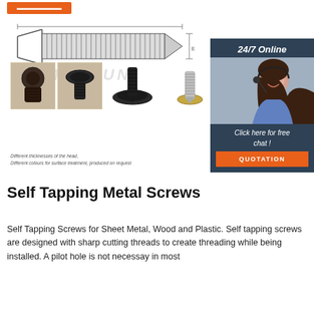[Figure (other): Orange button/banner at top left]
[Figure (engineering-diagram): Engineering diagram of a self-tapping screw with technical drawing style, showing screw profile with thread details, plus photos of different screw heads and screws with MONSUN watermark]
Different thicknesses of the head,
Different colours for surface treatment, produced on request
[Figure (photo): Sidebar with customer service representative wearing headset, dark blue background, 24/7 Online text, Click here for free chat, QUOTATION button in orange]
Self Tapping Metal Screws
Self Tapping Screws for Sheet Metal, Wood and Plastic. Self tapping screws are designed with sharp cutting threads to create threading while being installed. A pilot hole is not necessay in most